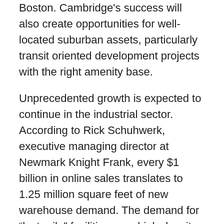Boston. Cambridge's success will also create opportunities for well-located suburban assets, particularly transit oriented development projects with the right amenity base.
Unprecedented growth is expected to continue in the industrial sector. According to Rick Schuhwerk, executive managing director at Newmark Knight Frank, every $1 billion in online sales translates to 1.25 million square feet of new warehouse demand. The demand for “last-mile” facilities near high-density urban centers is driving up values. In the last five years, rents in core urban industrial space have more than doubled. In 2020, with online sales only expected to increase, vacancies will drop and rents will continue to rise. Spec developments are expected as well as a western migration of industrial space.
On the heavier front, according to Kelly Whitner, senior...